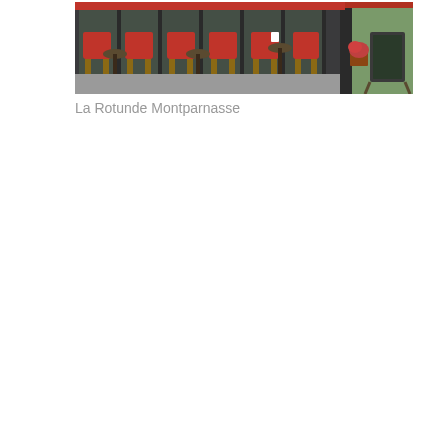[Figure (photo): Outdoor terrace of La Rotunde Montparnasse café in Paris, showing rows of red wicker chairs and small round tables on a sidewalk, with the café entrance visible in the background featuring large glass doors and reflections.]
La Rotunde Montparnasse